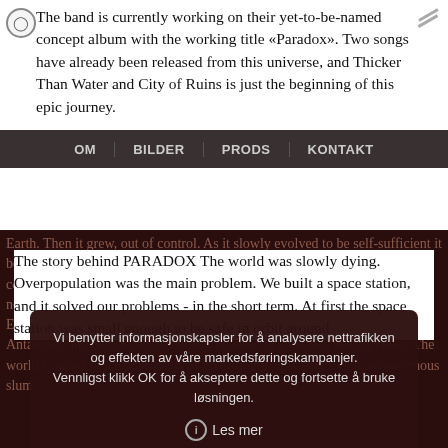The band is currently working on their yet-to-be-named concept album with the working title «Paradox». Two songs have already been released from this universe, and Thicker Than Water and City of Ruins is just the beginning of this epic journey.
OM  BILDER  PRODS  KONTAKT
The story behind PARADOX The world was slowly dying. Overpopulation was the main problem. We built a space station, and it solved our problems - in the short term. At first the space station was small enough to be safe in orbit around
Earth. Then it grew, out of control. As it slowly evolved to be self-sufficient it became a world of its own - without any outside authority. It was run by corporations and ruthless dictators free from any control. The space station, now known as Paradox Station, has grown so large it has become a part of Earth's atmosphere, literally blocking out the sun. Continents such as Antarctica and Greenland are mostly covered in snow, ice and darkness. The world is now known population of 15 billion people now live in an enormous slum.
Vi benytter informasjonskapsler for å analysere nettrafikken og effekten av våre markedsføringskampanjer.
Vennligst klikk OK for å akseptere dette og fortsette å bruke løsningen.
Les mer
✓ OK